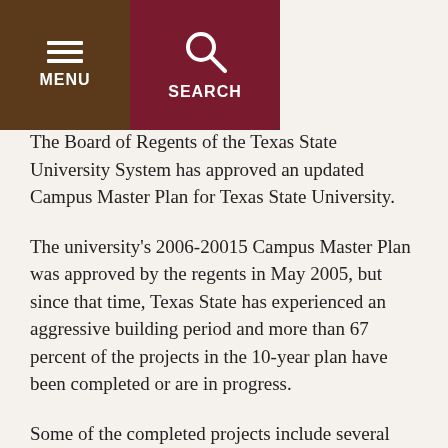MENU | SEARCH
The Board of Regents of the Texas State University System has approved an updated Campus Master Plan for Texas State University.
The university’s 2006-20015 Campus Master Plan was approved by the regents in May 2005, but since that time, Texas State has experienced an aggressive building period and more than 67 percent of the projects in the 10-year plan have been completed or are in progress.
Some of the completed projects include several parking garages, the Student Recreation Center Addition, renovations to academic space, the first phase of the Bobcat Stadium expansion and the Concho Green.
Some projects currently under way include the Undergraduate Academic Center, the Performing Arts Center, phases 2 and 3…